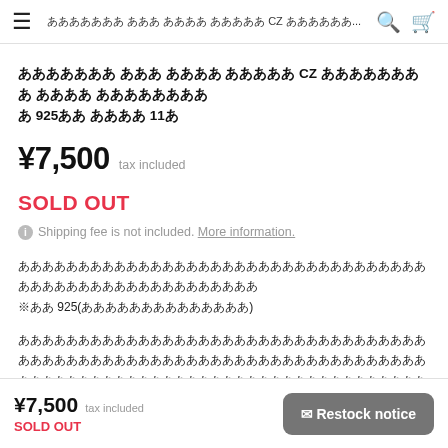≡  ααααααα ααα αααα ααααα CZ ααααα...  🔍  🛒
ααααααα ααα αααα ααααα CZ αααααααα αααα αααααααα α 925αα αααα 11α
¥7,500  tax included
SOLD OUT
ℹ Shipping fee is not included. More information.
αααααααααααααααααααααααααααααααααααααααααααααααααααααα ※αα 925(αααααααααααααα)
αααααααααααααααααααααααααααααααααα αααααααααααααααααααααααααααααααααααααααααααααααααααααααααααααααα αααααααααααααααα
¥7,500  tax included
SOLD OUT
✉ Restock notice